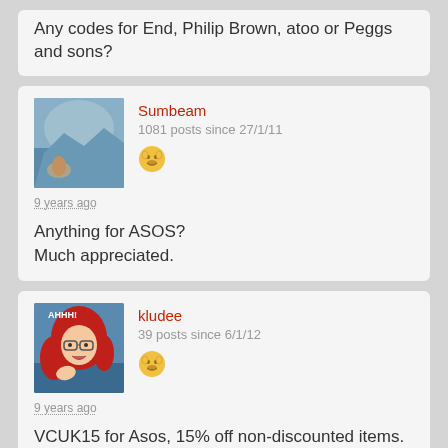Any codes for End, Philip Brown, atoo or Peggs and sons?
Sumbeam
1081 posts since 27/1/11
9 years ago
Anything for ASOS?
Much appreciated.
kludee
39 posts since 6/1/12
9 years ago
VCUK15 for Asos, 15% off non-discounted items.